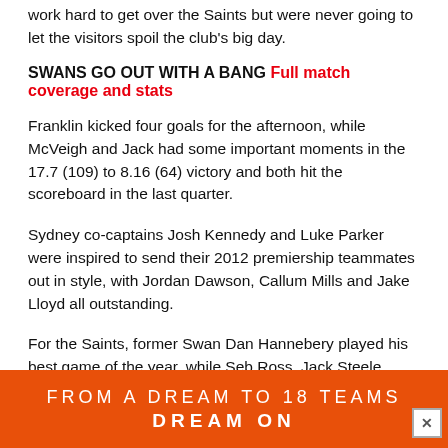work hard to get over the Saints but were never going to let the visitors spoil the club's big day.
SWANS GO OUT WITH A BANG Full match coverage and stats
Franklin kicked four goals for the afternoon, while McVeigh and Jack had some important moments in the 17.7 (109) to 8.16 (64) victory and both hit the scoreboard in the last quarter.
Sydney co-captains Josh Kennedy and Luke Parker were inspired to send their 2012 premiership teammates out in style, with Jordan Dawson, Callum Mills and Jake Lloyd all outstanding.
For the Saints, former Swan Dan Hannebery played his best game of the year, while Seb Ross, Jack Steele, Luke Dunstan
[Figure (infographic): Orange advertisement banner reading 'FROM A DREAM TO 18 TEAMS' and 'DREAM ON' with a close button]